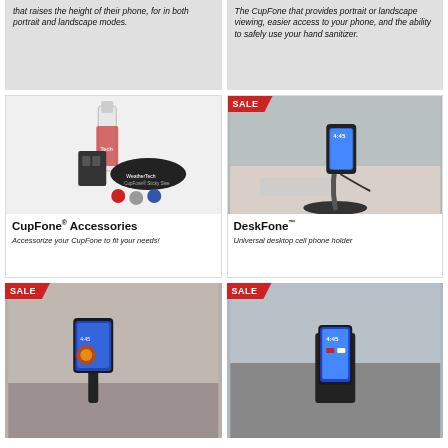that raises the height of their phone, for in both portrait and landscape modes.
The CupFone that provides portrait or landscape viewing, easier access to your phone, and the ability to safely use your hand sanitizer.
[Figure (photo): CupFone Accessories product photo with spray bottle, sticky sleeve, and colored ball accessories]
CupFone® Accessories
Accessorize your CupFone to fit your needs!
[Figure (photo): DeskFone product photo with phone holder on desk, phone showing 4:45 time]
DeskFone™
Universal desktop cell phone holder
[Figure (photo): SALE - Product photo partially visible, phone mount on dashboard or surface]
[Figure (photo): SALE - Product photo showing phone holder with phone showing 4:45]